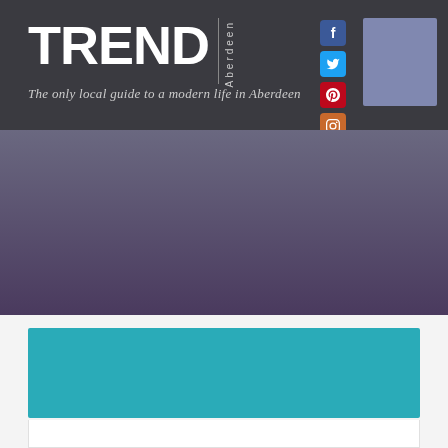TREND Aberdeen — The only local guide to a modern life in Aberdeen
[Figure (illustration): Purple/grey gradient decorative background section]
[Figure (other): Teal colored rectangular card block]
[Figure (other): White rectangular card block below teal card]